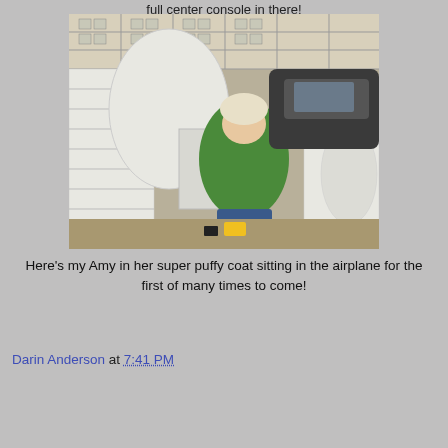full center console in there!
[Figure (photo): A woman in a green puffy coat and white hat sitting inside the fuselage of a partially constructed airplane in a garage. The airplane structure is white with visible ribs and panels. A car is visible in the background.]
Here's my Amy in her super puffy coat sitting in the airplane for the first of many times to come!
Darin Anderson at 7:41 PM
Share